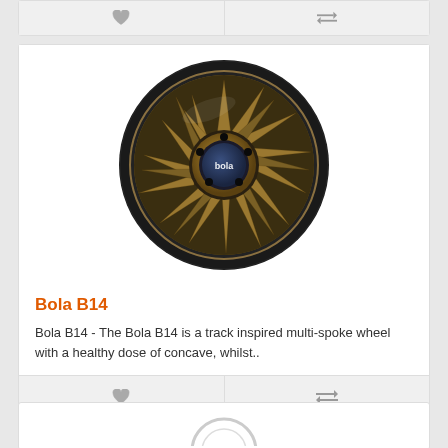[Figure (screenshot): Top of a product card with favorite (heart) and compare (arrows) buttons, partially cropped at top of page]
[Figure (photo): Bola B14 alloy wheel in bronze/gold finish with multi-spoke design, track inspired with concave profile, shown against white background]
Bola B14
Bola B14 - The Bola B14 is a track inspired multi-spoke wheel with a healthy dose of concave, whilst..
[Figure (screenshot): Product card action bar with favorite (heart) button on left and compare (arrows) button on right]
[Figure (screenshot): Top portion of another product card partially visible at bottom of page, showing the beginning of another wheel image]